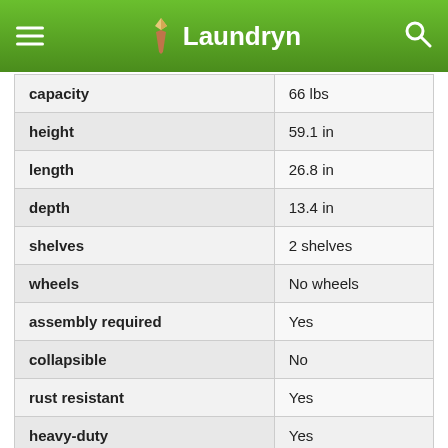Laundryn
| property | value |
| --- | --- |
| capacity | 66 lbs |
| height | 59.1 in |
| length | 26.8 in |
| depth | 13.4 in |
| shelves | 2 shelves |
| wheels | No wheels |
| assembly required | Yes |
| collapsible | No |
| rust resistant | Yes |
| heavy-duty | Yes |
| weight | 6.4 lbs |
Each of the feet can be adjusted individually to